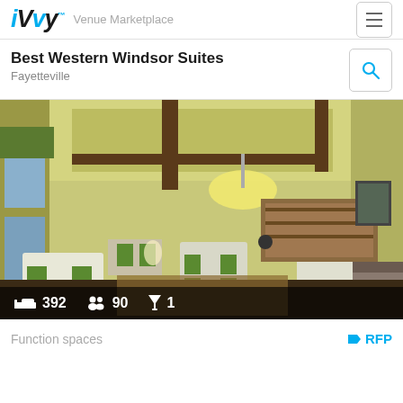iVvy  Venue Marketplace
Best Western Windsor Suites
Fayetteville
[Figure (photo): Interior photo of Best Western Windsor Suites dining/lobby area with green upholstered chairs, wooden tables, yellow walls, high ceilings with recessed lighting, windows with blinds, and a bar/buffet area in the background. Stats overlay at bottom shows: bed icon 392, people icon 90, cocktail icon 1.]
Function spaces
RFP